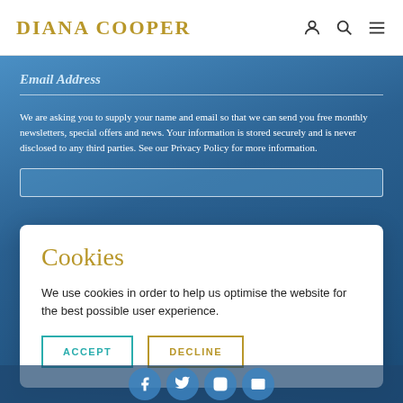DIANA COOPER
Email Address
We are asking you to supply your name and email so that we can send you free monthly newsletters, special offers and news. Your information is stored securely and is never disclosed to any third parties. See our Privacy Policy for more information.
Cookies
We use cookies in order to help us optimise the website for the best possible user experience.
ACCEPT
DECLINE